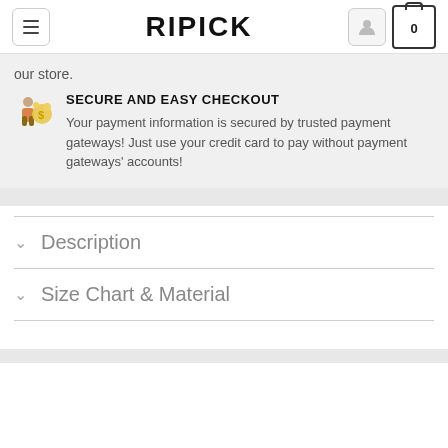RIPICK
our store.
SECURE AND EASY CHECKOUT
Your payment information is secured by trusted payment gateways! Just use your credit card to pay without payment gateways' accounts!
Description
Size Chart & Material